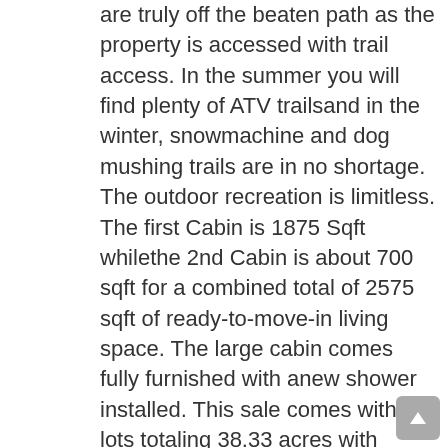are truly off the beaten path as the property is accessed with trail access. In the summer you will find plenty of ATV trailsand in the winter, snowmachine and dog mushing trails are in no shortage. The outdoor recreation is limitless. The first Cabin is 1875 Sqft whilethe 2nd Cabin is about 700 sqft for a combined total of 2575 sqft of ready-to-move-in living space. The large cabin comes fully furnished with anew shower installed. This sale comes with 8 lots totaling 38.33 acres with enough raw timber to build what your heart desires. You won't evenhave to pay property taxes! If all of that wasn't enough this home comes fully stocked with all the furniture and equipment you could ever needsuch as 3toyos, 4500-watt Generator, 420 hr Mule Kawasaki, 500 hr 3400 Kubota Backhoe front end load, 3 Trailers to include 16 ft utility,6x10,and 4ftramp,1984 Toyota pick-up with 6000lbs winch, A 22 tow log splitter, 140 Gal Fuel slip tank with pump, Chainsaws, 2 snow drags, 100 galwater transfer tank, rain catchment tanks, an assortment of hand tools, beds, dressers, TVs/Dvds, incinerator toilet, and much more. The list ofwhat doesn't come with the house is much shorter. With gold panning in the creek and your 150 Meter Gun Range, you won't ever have anafternoon without adventure. A